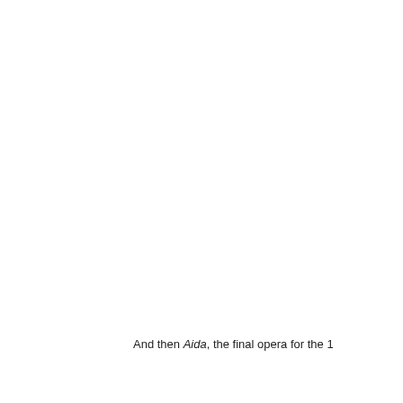And then Aida, the final opera for the 1